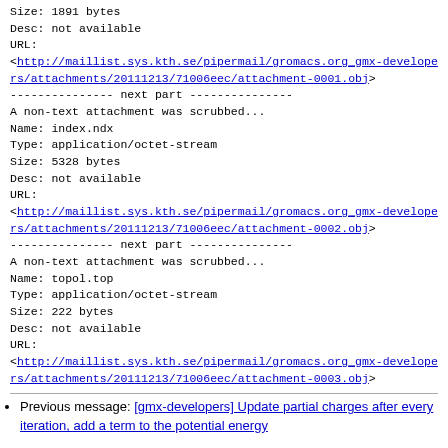Size: 1891 bytes
Desc: not available
URL:
<http://maillist.sys.kth.se/pipermail/gromacs.org_gmx-developers/attachments/20111213/71006eec/attachment-0001.obj>
--------------- next part ---------------
A non-text attachment was scrubbed...
Name: index.ndx
Type: application/octet-stream
Size: 5328 bytes
Desc: not available
URL:
<http://maillist.sys.kth.se/pipermail/gromacs.org_gmx-developers/attachments/20111213/71006eec/attachment-0002.obj>
--------------- next part ---------------
A non-text attachment was scrubbed...
Name: topol.top
Type: application/octet-stream
Size: 222 bytes
Desc: not available
URL:
<http://maillist.sys.kth.se/pipermail/gromacs.org_gmx-developers/attachments/20111213/71006eec/attachment-0003.obj>
Previous message: [gmx-developers] Update partial charges after every iteration, add a term to the potential energy